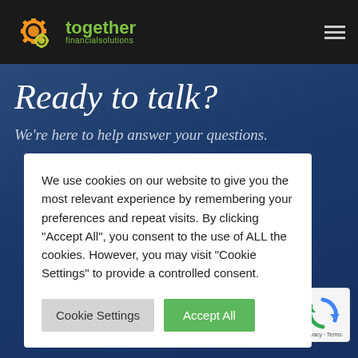[Figure (logo): Together Financial Solutions logo with gear icons in orange/yellow and green text on dark background]
Ready to talk?
We're here to help answer your questions.
isation, we the way in nts.
We use cookies on our website to give you the most relevant experience by remembering your preferences and repeat visits. By clicking “Accept All”, you consent to the use of ALL the cookies. However, you may visit "Cookie Settings" to provide a controlled consent.
Cookie Settings   Accept All
[Figure (logo): reCAPTCHA badge with Privacy - Terms text]